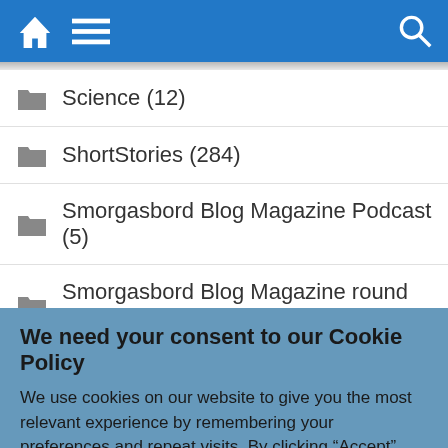Navigation bar with home, menu, and search icons
Science (12)
ShortStories (284)
Smorgasbord Blog Magazine Podcast (5)
Smorgasbord Blog Magazine round up (1)
Smorgasbord Blogger Daily (53)
We need your consent to our Cookie Policy
We use cookies on our website to give you the most relevant experience by remembering your preferences and repeat visits. By clicking “Accept”, you consent to the use of ALL the cookies.
Do not sell my personal information.
Cookie Settings | Accept